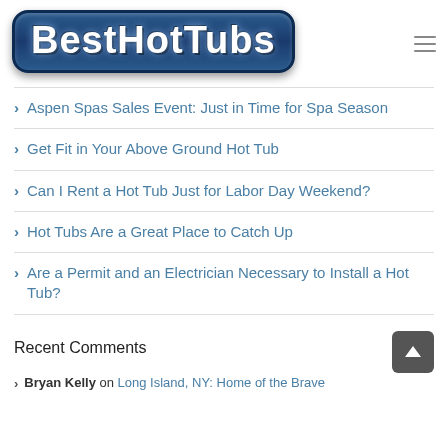[Figure (logo): Best Hot Tubs logo with white bubbly text on dark blue rounded rectangle background]
> Aspen Spas Sales Event: Just in Time for Spa Season
> Get Fit in Your Above Ground Hot Tub
> Can I Rent a Hot Tub Just for Labor Day Weekend?
> Hot Tubs Are a Great Place to Catch Up
> Are a Permit and an Electrician Necessary to Install a Hot Tub?
Recent Comments
> Bryan Kelly on Long Island, NY: Home of the Brave